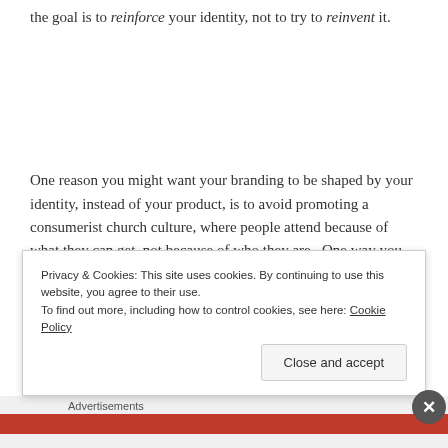the goal is to reinforce your identity, not to try to reinvent it.
One reason you might want your branding to be shaped by your identity, instead of your product, is to avoid promoting a consumerist church culture, where people attend because of what they can get, not because of who they are.  One way you can do this is by
Privacy & Cookies: This site uses cookies. By continuing to use this website, you agree to their use. To find out more, including how to control cookies, see here: Cookie Policy
Close and accept
Advertisements